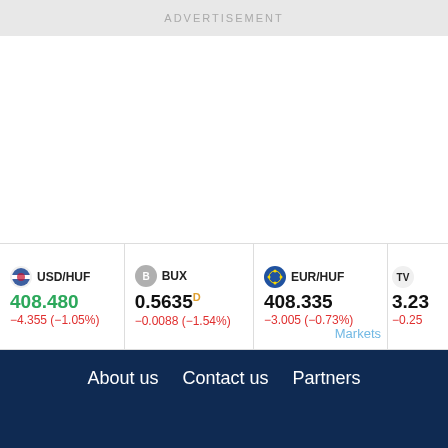ADVERTISEMENT
| Currency/Index | Price | Change |
| --- | --- | --- |
| USD/HUF | 408.480 | −4.355 (−1.05%) |
| BUX | 0.5635 D | −0.0088 (−1.54%) |
| EUR/HUF | 408.335 | −3.005 (−0.73%) |
| TradingView | 3.23 | −0.25 |
About us   Contact us   Partners
This website uses cookies to ensure you get the best experience on our website.
Learn more
Decline
Allow cookies